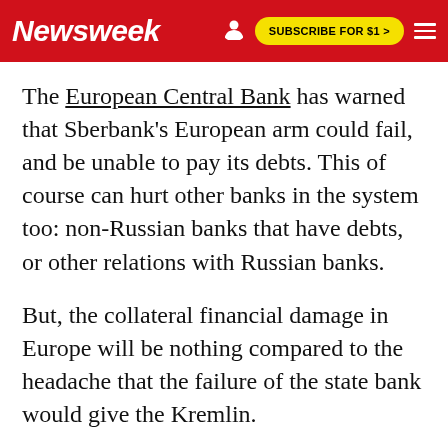Newsweek | SUBSCRIBE FOR $1 >
The European Central Bank has warned that Sberbank's European arm could fail, and be unable to pay its debts. This of course can hurt other banks in the system too: non-Russian banks that have debts, or other relations with Russian banks.
But, the collateral financial damage in Europe will be nothing compared to the headache that the failure of the state bank would give the Kremlin.